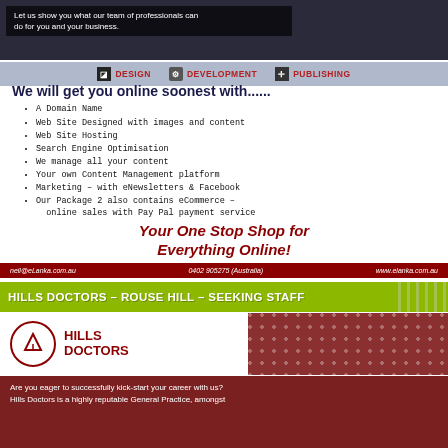[Figure (photo): Dark cityscape photo strip at top]
Let us show you what our team of professionals can do for you and your business.
DESIGN   DEVELOPMENT   PUBLISHING
We will get you online soonest with......
A Domain Name
Web Site Designed with images and content
Web Site Hosting
Search Engine Optimisation
We manage all your content
Your own Content Management platform
Marketing – with eNewsletters & Facebook
Our Package 2 also contains eCommerce – online sales with Pay Pal payment service
Your One Stop Shop for Everything Online!
neil@eLanka.com.au   0402 905275 (Australia)   www.elanka.com.au
HILLS DOCTORS – ROUSE HILL – SEEKING STAFF
[Figure (logo): Hills Doctors logo with red circle icon and red text]
Are you eager to successfully kick-start your career with us? Hills Doctors is a highly reputable General Practice, amongst